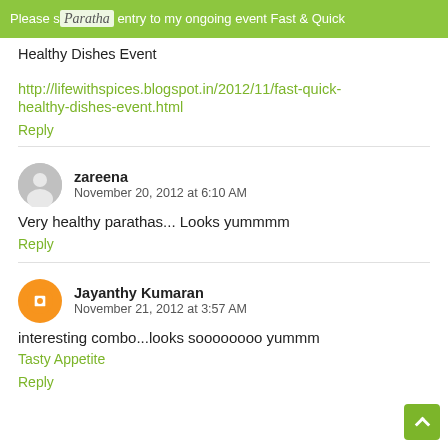Please submit this entry to my ongoing event Fast & Quick Healthy Dishes Event
http://lifewithspices.blogspot.in/2012/11/fast-quick-healthy-dishes-event.html
Reply
zareena
November 20, 2012 at 6:10 AM
Very healthy parathas... Looks yummmm
Reply
Jayanthy Kumaran
November 21, 2012 at 3:57 AM
interesting combo...looks soooooooo yummm
Tasty Appetite
Reply